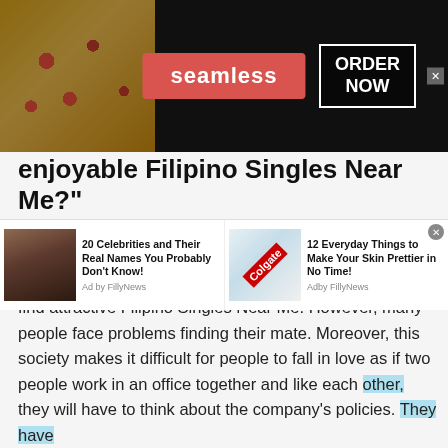[Figure (screenshot): Seamless food delivery advertisement banner with pizza image on left, red Seamless logo box in center, and ORDER NOW box on right with close button]
enjoyable Filipino Singles Near Me?” Answer is simple
One of the basic human needs and nature is to fall in love and have a relationship and people often ask how to find attractive Filipino Singles Near Me. However, many people face problems finding their mate. Moreover, this society makes it difficult for people to fall in love as if two people work in an office together and like each other, they will have to think about the company’s policies. They have
[Figure (screenshot): Bottom advertisement bar showing two sponsored content items: '20 Celebrities and Their Real Names You Probably Don't Know! Ad by FillyNews' with celebrity photo, and '12 Everyday Things to Make Your Skin Prettier in No Time! Adby FillyNews' with Colgate product photo]